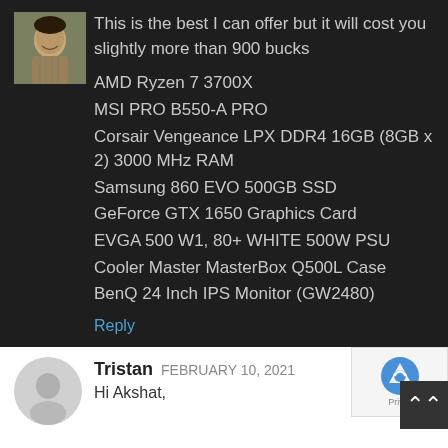This is the best I can offer but it will cost you slightly more than 900 bucks
AMD Ryzen 7 3700X
MSI PRO B550-A PRO
Corsair Vengeance LPX DDR4 16GB (8GB x 2) 3000 MHz RAM
Samsung 860 EVO 500GB SSD
GeForce GTX 1650 Graphics Card
EVGA 500 W1, 80+ WHITE 500W PSU
Cooler Master MasterBox Q500L Case
BenQ 24 Inch IPS Monitor (GW2480)
Reply
Tristan FEBRUARY 10, 2021
Hi Akshat,